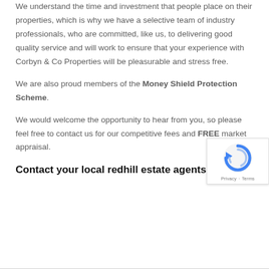We understand the time and investment that people place on their properties, which is why we have a selective team of industry professionals, who are committed, like us, to delivering good quality service and will work to ensure that your experience with Corbyn & Co Properties will be pleasurable and stress free.
We are also proud members of the Money Shield Protection Scheme.
We would welcome the opportunity to hear from you, so please feel free to contact us for our competitive fees FREE market appraisal.
[Figure (other): reCAPTCHA badge with rotating arrow logo, Privacy and Terms links]
Contact your local redhill estate agents now.